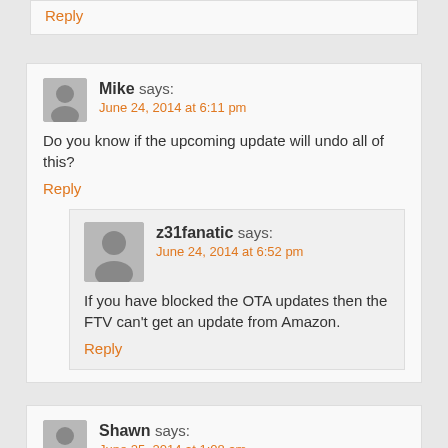Reply
Mike says:
June 24, 2014 at 6:11 pm
Do you know if the upcoming update will undo all of this?
Reply
z31fanatic says:
June 24, 2014 at 6:52 pm
If you have blocked the OTA updates then the FTV can't get an update from Amazon.
Reply
Shawn says:
June 25, 2014 at 1:08 am